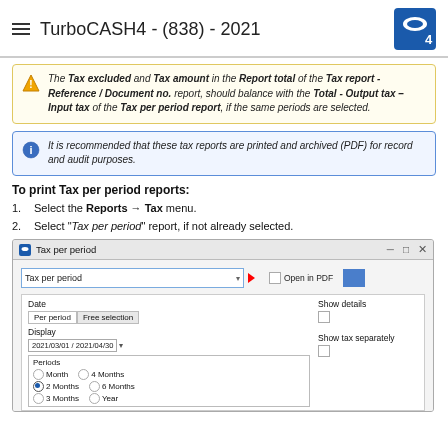TurboCASH4 - (838) - 2021
The Tax excluded and Tax amount in the Report total of the Tax report - Reference / Document no. report, should balance with the Total - Output tax – Input tax of the Tax per period report, if the same periods are selected.
It is recommended that these tax reports are printed and archived (PDF) for record and audit purposes.
To print Tax per period reports:
Select the Reports → Tax menu.
Select "Tax per period" report, if not already selected.
[Figure (screenshot): Tax per period dialog window showing a dropdown set to 'Tax per period', Open in PDF checkbox, Date section with Per period and Free selection tabs, Display field showing '2021/03/01 / 2021/04/30', Show details checkbox, Show tax separately checkbox, and Periods section with radio buttons for Month, 2 Months (selected), 3 Months, 4 Months, 6 Months, Year.]